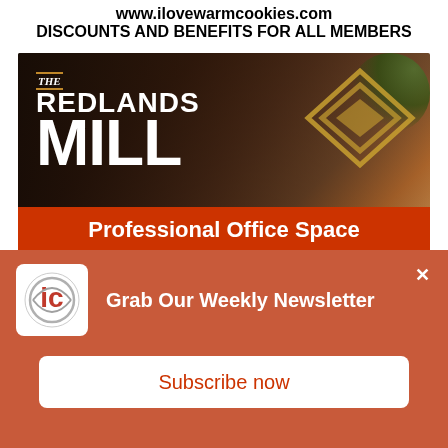www.ilovewarmcookies.com
DISCOUNTS AND BENEFITS FOR ALL MEMBERS
[Figure (photo): The Redlands Mill advertisement banner showing logo with 'The Redlands Mill' text, decorative chevron logo, and red bar at bottom reading 'Professional Office Space']
[Figure (photo): RedFusion advertisement banner showing 'RedFusion' branding and 'The New' headline text over a desk/workspace background]
[Figure (infographic): Newsletter signup popup with 'Grab Our Weekly Newsletter' heading, IC logo, and 'Subscribe now' button on orange-red background]